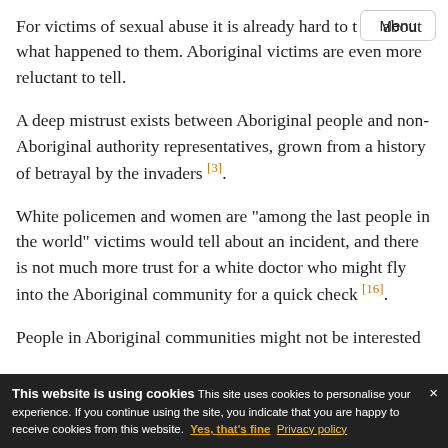Menu
For victims of sexual abuse it is already hard to talk about what happened to them. Aboriginal victims are even more reluctant to tell.
A deep mistrust exists between Aboriginal people and non-Aboriginal authority representatives, grown from a history of betrayal by the invaders [3].
White policemen and women are "among the last people in the world" victims would tell about an incident, and there is not much more trust for a white doctor who might fly into the Aboriginal community for a quick check [16].
People in Aboriginal communities might not be interested in...
This website is using cookies This site uses cookies to personalise your experience. If you continue using the site, you indicate that you are happy to receive cookies from this website. Yes, that's fine Privacy policy ×